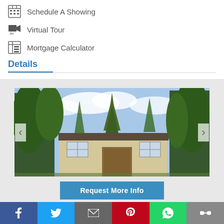Schedule A Showing
Virtual Tour
Mortgage Calculator
Details
[Figure (photo): Exterior photo of a two-story residential house with siding, a deck, and large trees surrounding the property under a partly cloudy sky.]
Request More Info